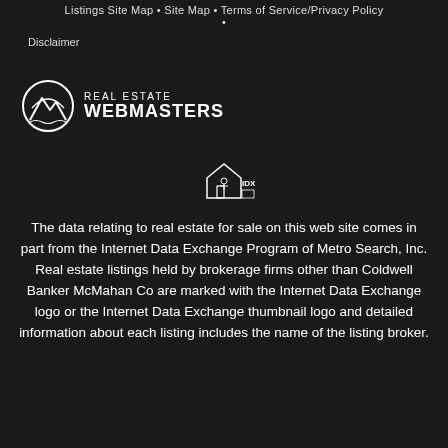Listings Site Map • Site Map • Terms of Service/Privacy Policy •
Disclaimer
[Figure (logo): Real Estate Webmasters logo with mountain icon and text 'REAL ESTATE WEBMASTERS']
[Figure (logo): IDX / Internet Data Exchange thumbnail logo icon showing a house with a person]
The data relating to real estate for sale on this web site comes in part from the Internet Data Exchange Program of Metro Search, Inc. Real estate listings held by brokerage firms other than Coldwell Banker McMahan Co are marked with the Internet Data Exchange logo or the Internet Data Exchange thumbnail logo and detailed information about each listing includes the name of the listing broker.